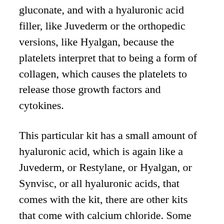gluconate, and with a hyaluronic acid filler, like Juvederm or the orthopedic versions, like Hyalgan, because the platelets interpret that to being a form of collagen, which causes the platelets to release those growth factors and cytokines.
This particular kit has a small amount of hyaluronic acid, which is again like a Juvederm, or Restylane, or Hyalgan, or Synvisc, or all hyaluronic acids, that comes with the kit, there are other kits that come with calcium chloride. Some kits don’t come with anything, and you have to add the calcium chloride or the calcium gluconate, or the HA yourself. So, this kit was sponsored by a company that makes a kit ... Region makes a kit, that comes with an HA.